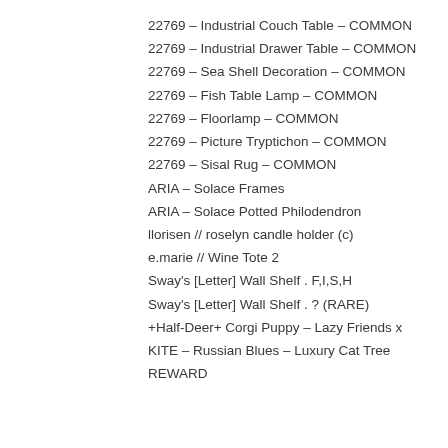22769 – Industrial Couch Table – COMMON
22769 – Industrial Drawer Table – COMMON
22769 – Sea Shell Decoration – COMMON
22769 – Fish Table Lamp – COMMON
22769 – Floorlamp – COMMON
22769 – Picture Tryptichon – COMMON
22769 – Sisal Rug – COMMON
ARIA – Solace Frames
ARIA – Solace Potted Philodendron
llorisen // roselyn candle holder (c)
e.marie // Wine Tote 2
Sway's [Letter] Wall Shelf . F,I,S,H
Sway's [Letter] Wall Shelf . ? (RARE)
+Half-Deer+ Corgi Puppy – Lazy Friends x
KITE – Russian Blues – Luxury Cat Tree REWARD